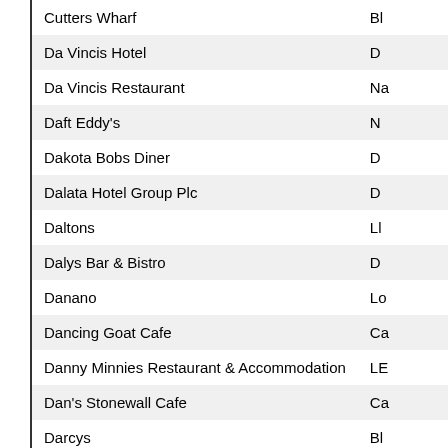| Name | Code |
| --- | --- |
| Cutters Wharf | Bl |
| Da Vincis Hotel | D |
| Da Vincis Restaurant | Na |
| Daft Eddy's | N |
| Dakota Bobs Diner | D |
| Dalata Hotel Group Plc | D |
| Daltons | Ll |
| Dalys Bar & Bistro | D |
| Danano | Lo |
| Dancing Goat Cafe | Ca |
| Danny Minnies Restaurant & Accommodation | LE |
| Dan's Stonewall Cafe | Ca |
| Darcys | Bl |
| Dark Hedges Estate | Ba |
| Darver Castle | D |
| David Weiniger | Bl |
| Deane & Decano | Bl |
| Deane's at Queens Bar & Grill | Ri |